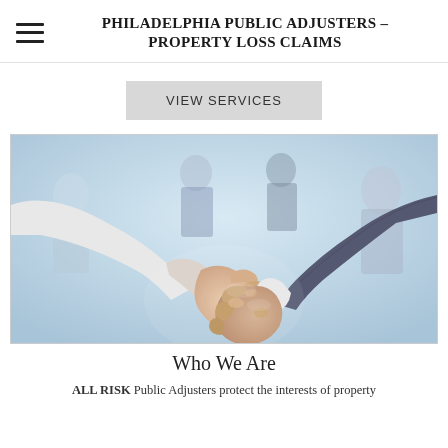PHILADELPHIA PUBLIC ADJUSTERS – PROPERTY LOSS CLAIMS
VIEW SERVICES
[Figure (photo): Two people shaking hands in a business setting, with blurred figures in the background]
Who We Are
ALL RISK Public Adjusters protect the interests of property